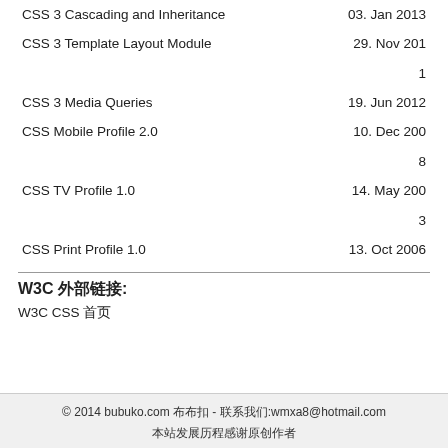|  |  |
| --- | --- |
| CSS 3 Cascading and Inheritance | 03. Jan 2013 |
| CSS 3 Template Layout Module | 29. Nov 2011 |
| CSS 3 Media Queries | 19. Jun 2012 |
| CSS Mobile Profile 2.0 | 10. Dec 2008 |
| CSS TV Profile 1.0 | 14. May 2003 |
| CSS Print Profile 1.0 | 13. Oct 2006 |
W3C 外部链接:
W3C CSS 首页
© 2014 bubuko.com 布布扣 - 联系我们:wmxa8@hotmail.com
本站发展历程感谢原创作者